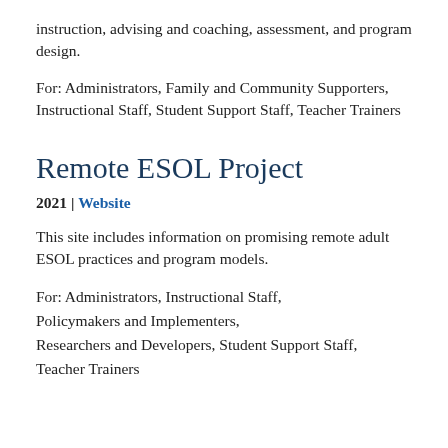instruction, advising and coaching, assessment, and program design.
For: Administrators, Family and Community Supporters, Instructional Staff, Student Support Staff, Teacher Trainers
Remote ESOL Project
2021 | Website
This site includes information on promising remote adult ESOL practices and program models.
For: Administrators, Instructional Staff, Policymakers and Implementers, Researchers and Developers, Student Support Staff, Teacher Trainers